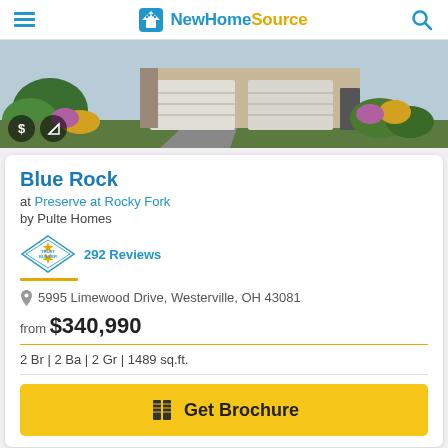NewHomeSource
[Figure (photo): Exterior photo of a suburban home with white/beige garage door, stone facade, landscaping with shrubs and colorful flowers]
Blue Rock
at Preserve at Rocky Fork
by Pulte Homes
292 Reviews
5995 Limewood Drive, Westerville, OH 43081
from $340,990
2 Br | 2 Ba | 2 Gr | 1489 sq.ft.
Get Brochure
Ready to Build